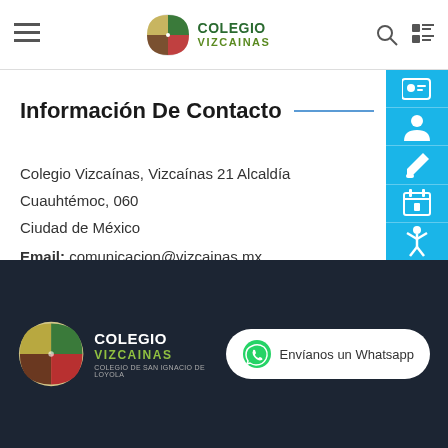Colegio Vizcainas — navigation header with hamburger menu, logo, search and list icons
Información De Contacto
Colegio Vizcaínas, Vizcaínas 21 Alcaldía Cuauhtémoc, 060... Ciudad de México
Email: comunicacion@vizcainas.mx
Teléfono: 55 5512 4267
[Figure (logo): Colegio Vizcainas logo in footer with circular emblem and text]
Envíanos un Whatsapp